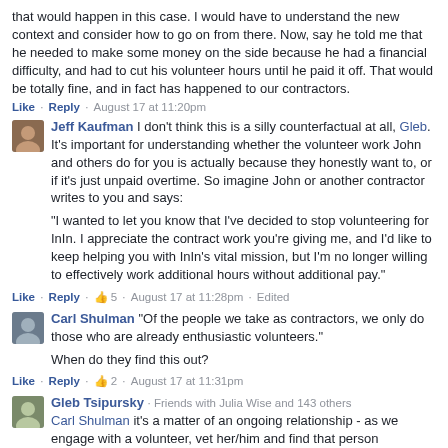that would happen in this case. I would have to understand the new context and consider how to go on from there. Now, say he told me that he needed to make some money on the side because he had a financial difficulty, and had to cut his volunteer hours until he paid it off. That would be totally fine, and in fact has happened to our contractors.
Like · Reply · August 17 at 11:20pm
Jeff Kaufman I don't think this is a silly counterfactual at all, Gleb. It's important for understanding whether the volunteer work John and others do for you is actually because they honestly want to, or if it's just unpaid overtime. So imagine John or another contractor writes to you and says:
"I wanted to let you know that I've decided to stop volunteering for InIn. I appreciate the contract work you're giving me, and I'd like to keep helping you with InIn's vital mission, but I'm no longer willing to effectively work additional hours without additional pay."
Like · Reply · 👍 5 · August 17 at 11:28pm · Edited
Carl Shulman "Of the people we take as contractors, we only do those who are already enthusiastic volunteers." When do they find this out?
Like · Reply · 👍 2 · August 17 at 11:31pm
Gleb Tsipursky · Friends with Julia Wise and 143 others Carl Shulman it's a matter of an ongoing relationship - as we engage with a volunteer, vet her/him and find that person trustworthy and possessing needed skills, we offer to have them do additional work with pay.